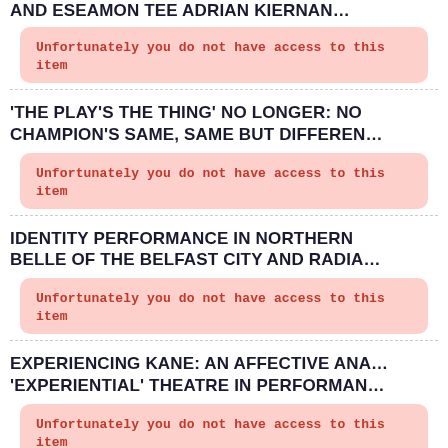AND ESEAMON TEE ADRIAN KIERNAN...
Unfortunately you do not have access to this item
'THE PLAY'S THE THING' NO LONGER: NO CHAMPION'S SAME, SAME BUT DIFFERENT
Unfortunately you do not have access to this item
IDENTITY PERFORMANCE IN NORTHERN BELLE OF THE BELFAST CITY AND RADIAL
Unfortunately you do not have access to this item
EXPERIENCING KANE: AN AFFECTIVE ANA 'EXPERIENTIAL' THEATRE IN PERFORMAN
Unfortunately you do not have access to this item